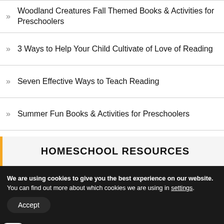Woodland Creatures Fall Themed Books & Activities for Preschoolers
3 Ways to Help Your Child Cultivate of Love of Reading
Seven Effective Ways to Teach Reading
Summer Fun Books & Activities for Preschoolers
HOMESCHOOL RESOURCES
We are using cookies to give you the best experience on our website.
You can find out more about which cookies we are using in settings.
Accept
76 Shares